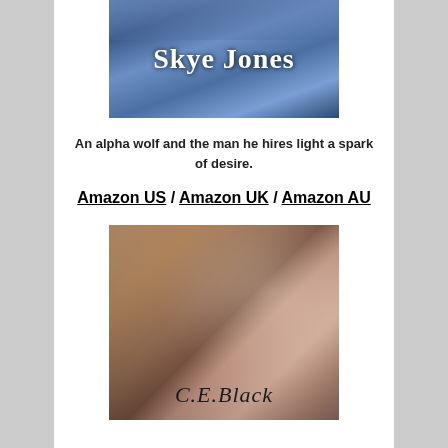[Figure (illustration): Book cover with blue/purple mountain background showing author name Skye Jones in large white serif font]
An alpha wolf and the man he hires light a spark of desire.
Amazon US / Amazon UK / Amazon AU
[Figure (illustration): Book cover showing two people kissing closely, man with dark hair and woman, with author name C.E. Black in italic script]